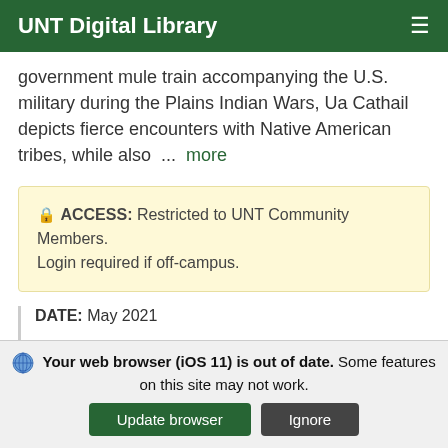UNT Digital Library
government mule train accompanying the U.S. military during the Plains Indian Wars, Ua Cathail depicts fierce encounters with Native American tribes, while also ... more
🔒 ACCESS: Restricted to UNT Community Members. Login required if off-campus.
DATE: May 2021
CREATOR: Ua Cathail, Eoin & Mahoney, Patrick J.
ITEM TYPE: Book
Your web browser (iOS 11) is out of date. Some features on this site may not work.